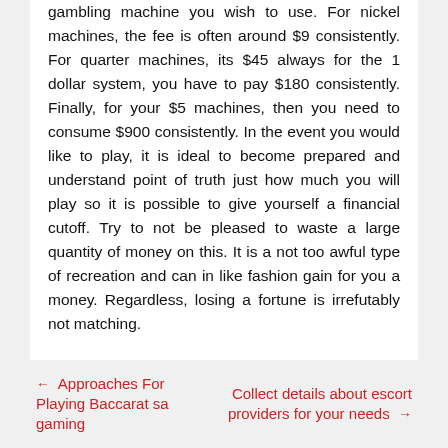gambling machine you wish to use. For nickel machines, the fee is often around $9 consistently. For quarter machines, its $45 always for the 1 dollar system, you have to pay $180 consistently. Finally, for your $5 machines, then you need to consume $900 consistently. In the event you would like to play, it is ideal to become prepared and understand point of truth just how much you will play so it is possible to give yourself a financial cutoff. Try to not be pleased to waste a large quantity of money on this. It is a not too awful type of recreation and can in like fashion gain for you a money. Regardless, losing a fortune is irrefutably not matching.
← Approaches For Playing Baccarat sa gaming | Collect details about escort providers for your needs →